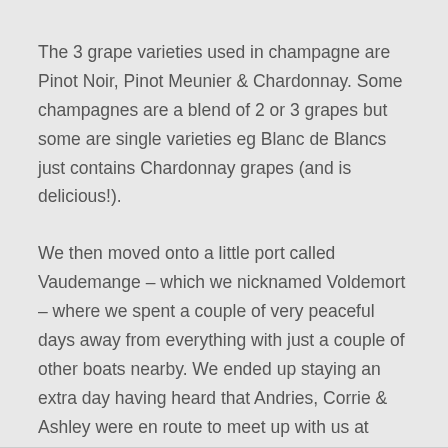The 3 grape varieties used in champagne are Pinot Noir, Pinot Meunier & Chardonnay. Some champagnes are a blend of 2 or 3 grapes but some are single varieties eg Blanc de Blancs just contains Chardonnay grapes (and is delicious!).
We then moved onto a little port called Vaudemange – which we nicknamed Voldemort – where we spent a couple of very peaceful days away from everything with just a couple of other boats nearby. We ended up staying an extra day having heard that Andries, Corrie & Ashley were en route to meet up with us at Rheims.